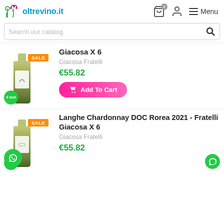oltrevino.it — Menu
Search our catalog
[Figure (screenshot): Product listing for Giacosa X 6 by Giacosa Fratelli at €55.82 with SALE badge and Add To Cart button]
[Figure (screenshot): Product listing for Langhe Chardonnay DOC Rorea 2021 - Fratelli Giacosa X 6 by Giacosa Fratelli at €55.82 with SALE badge]